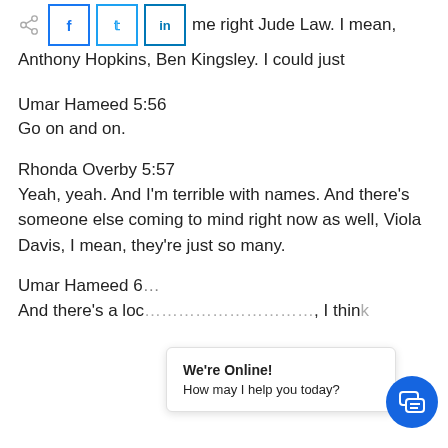…name right Jude Law. I mean, Anthony Hopkins, Ben Kingsley. I could just
Umar Hameed 5:56
Go on and on.
Rhonda Overby 5:57
Yeah, yeah. And I'm terrible with names. And there's someone else coming to mind right now as well, Viola Davis, I mean, they're just so many.
Umar Hameed 6:…
And there's a loc… … … , I think